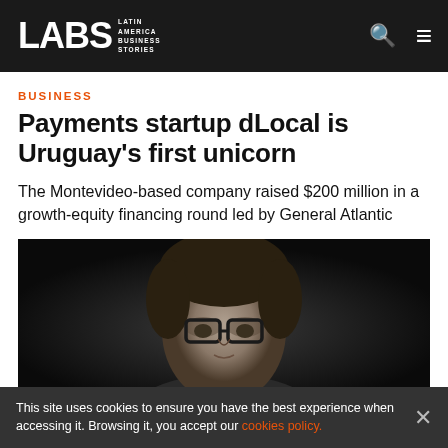LABS Latin America Business Stories
BUSINESS
Payments startup dLocal is Uruguay's first unicorn
The Montevideo-based company raised $200 million in a growth-equity financing round led by General Atlantic
[Figure (photo): Black and white close-up photo of a man with glasses and curly hair against a dark background]
This site uses cookies to ensure you have the best experience when accessing it. Browsing it, you accept our cookies policy.